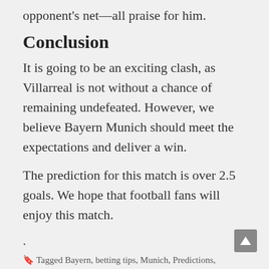opponent's net—all praise for him.
Conclusion
It is going to be an exciting clash, as Villarreal is not without a chance of remaining undefeated. However, we believe Bayern Munich should meet the expectations and deliver a win.
The prediction for this match is over 2.5 goals. We hope that football fans will enjoy this match.
.
Tagged Bayern, betting tips, Munich, Predictions, Villarreal, villarreal vs bayern munich betting tips, villarreal vs bayern munich predictions